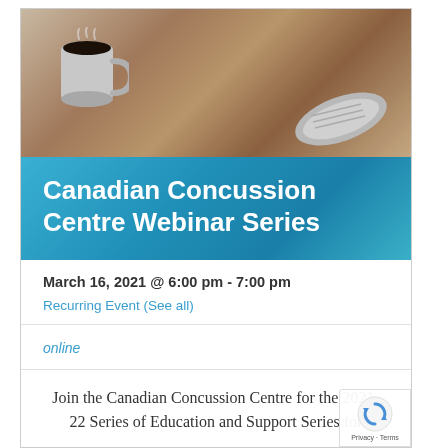[Figure (photo): Photo of a coffee mug and rolled newspaper on a wooden table background]
Canadian Concussion Centre Webinar Series
March 16, 2021 @ 6:00 pm - 7:00 pm
Recurring Event (See all)
online
Join the Canadian Concussion Centre for the 2021-22 Series of Education and Support Series for